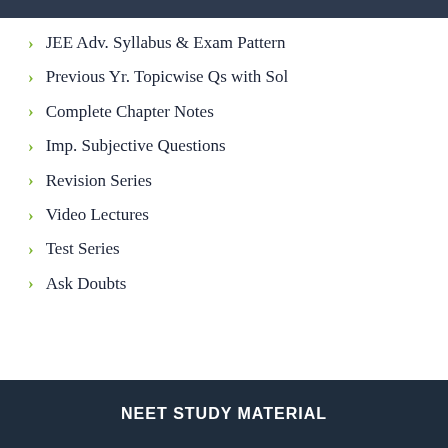JEE Adv. Syllabus & Exam Pattern
Previous Yr. Topicwise Qs with Sol
Complete Chapter Notes
Imp. Subjective Questions
Revision Series
Video Lectures
Test Series
Ask Doubts
NEET STUDY MATERIAL